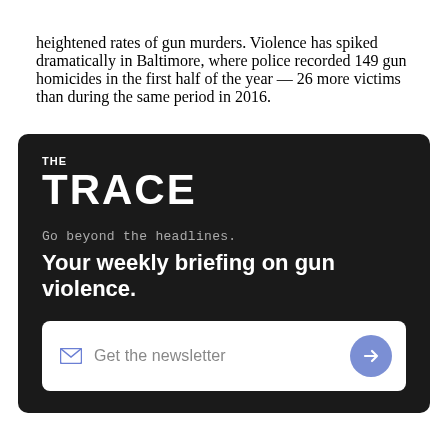heightened rates of gun murders. Violence has spiked dramatically in Baltimore, where police recorded 149 gun homicides in the first half of the year — 26 more victims than during the same period in 2016.
[Figure (other): Newsletter sign-up widget for 'The Trace' publication with dark background, logo, tagline 'Go beyond the headlines.', headline 'Your weekly briefing on gun violence.', and a 'Get the newsletter' input bar with arrow button.]